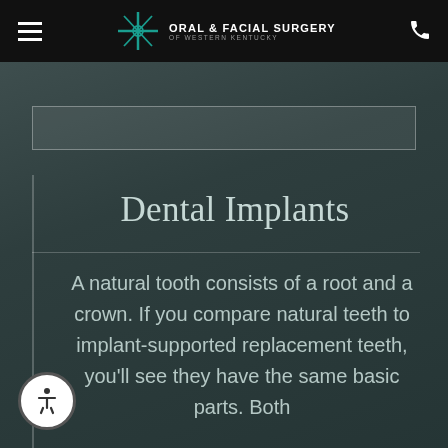Oral & Facial Surgery of Western Kentucky
[Figure (logo): OFS logo with teal cross/scissors icon and text 'ORAL & FACIAL SURGERY OF WESTERN KENTUCKY']
Dental Implants
A natural tooth consists of a root and a crown. If you compare natural teeth to implant-supported replacement teeth, you'll see they have the same basic parts. Both